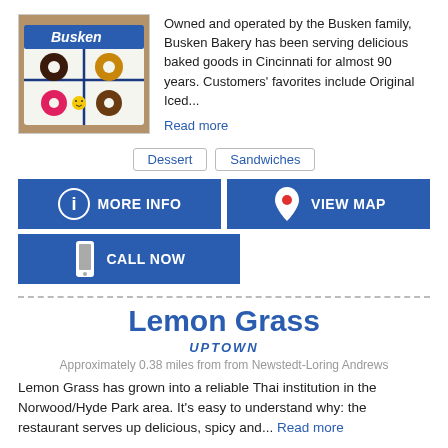[Figure (photo): Box of assorted donuts/baked goods with Busken Bakery logo, tied with a blue ribbon, on a wooden surface]
Owned and operated by the Busken family, Busken Bakery has been serving delicious baked goods in Cincinnati for almost 90 years. Customers' favorites include Original Iced...
Read more
Dessert   Sandwiches
MORE INFO
VIEW MAP
CALL NOW
Lemon Grass
UPTOWN
Approximately 0.38 miles from from Newstedt-Loring Andrews
Lemon Grass has grown into a reliable Thai institution in the Norwood/Hyde Park area. It's easy to understand why: the restaurant serves up delicious, spicy and... Read more